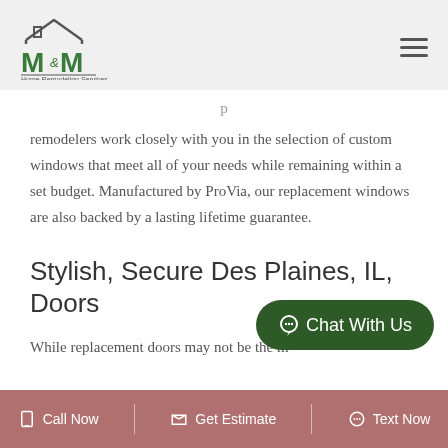[Figure (logo): M&M Home Remodeling Services logo with house roofline graphic above green stylized letters M&M with ampersand, and text 'Home Remodeling Services' below]
remodelers work closely with you in the selection of custom windows that meet all of your needs while remaining within a set budget. Manufactured by ProVia, our replacement windows are also backed by a lasting lifetime guarantee.
Stylish, Secure Des Plaines, IL, Doors
While replacement doors may not be the m...
Call Now  |  Get Estimate  |  Text Now